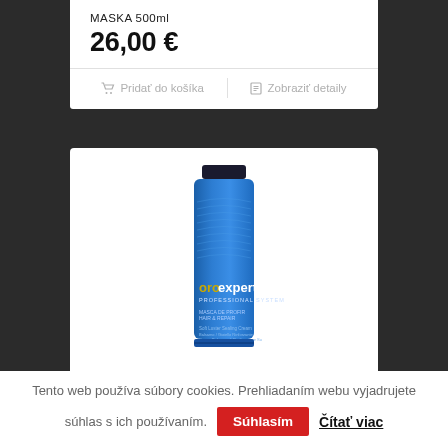MASKA 500ml
26,00 €
Pridať do košíka
Zobraziť detaily
[Figure (photo): Blue tube of Oro Expert Professional System hair product]
Tento web používa súbory cookies. Prehliadaním webu vyjadrujete súhlas s ich používaním.
Súhlasím
Čítať viac